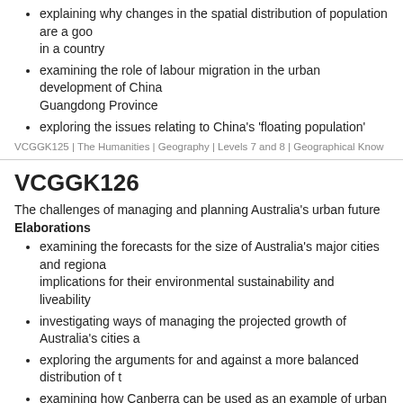explaining why changes in the spatial distribution of population are a good indicator of economic and social change in a country
examining the role of labour migration in the urban development of China, including in Guangdong Province
exploring the issues relating to China's 'floating population'
VCGGK125 | The Humanities | Geography | Levels 7 and 8 | Geographical Know
VCGGK126
The challenges of managing and planning Australia's urban future
Elaborations
examining the forecasts for the size of Australia's major cities and regional centres and implications for their environmental sustainability and liveability
investigating ways of managing the projected growth of Australia's cities a
exploring the arguments for and against a more balanced distribution of t
examining how Canberra can be used as an example of urban decentrali
proposing action to respond to geographical issues related to urbanisatio
VCGGK126 | The Humanities | Geography | Levels 7 and 8 | Geographical Know
VCGGK113
Environmental, economic and social measures used to evaluate places for